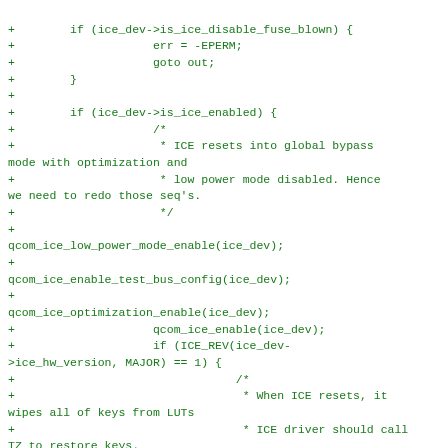+        if (ice_dev->is_ice_disable_fuse_blown) {
+                    err = -EPERM;
+                    goto out;
+        }
+
+        if (ice_dev->is_ice_enabled) {
+                    /*
+                     * ICE resets into global bypass mode with optimization and
+                     * low power mode disabled. Hence we need to redo those seq's.
+                     */
+
qcom_ice_low_power_mode_enable(ice_dev);
+
qcom_ice_enable_test_bus_config(ice_dev);
+
qcom_ice_optimization_enable(ice_dev);
+                    qcom_ice_enable(ice_dev);
+                    if (ICE_REV(ice_dev->ice_hw_version, MAJOR) == 1) {
+                                /*
+                                 * When ICE resets, it wipes all of keys from LUTs
+                                 * ICE driver should call TZ to restore keys.
+                                 *
+                                 * TZ would check KEYS_RAM_RESET_COMPLETED status bit
+                                 * before processing